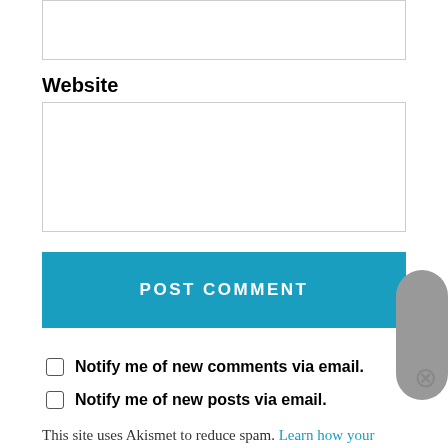[input box top]
Website
[Website input field]
POST COMMENT
Notify me of new comments via email.
Notify me of new posts via email.
This site uses Akismet to reduce spam. Learn how your comment data is processed.
Advertisements
[Figure (logo): Longreads advertisement banner in dark red. Shows Longreads logo and tagline: The best stories on the web — ours, and everyone else's.]